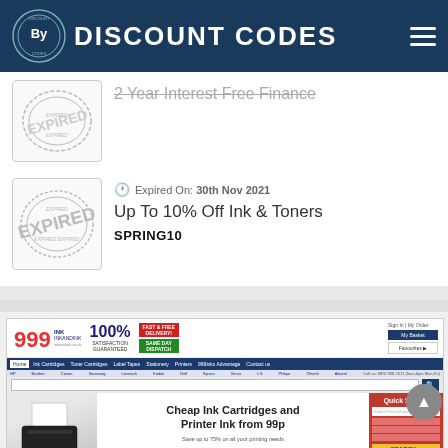DISCOUNT CODES
[Figure (illustration): Expired stamp image for first coupon (partially visible at top)]
2 Year Interest Free Finance
[Figure (illustration): Expired stamp image for second coupon]
Expired On: 30th Nov 2021
Up To 10% Off Ink & Toners
SPRING10
[Figure (screenshot): Screenshot of 999inks.co.uk website showing cheap ink cartridges and printer ink from 99p, with navigation, search bar, and quick search panel]